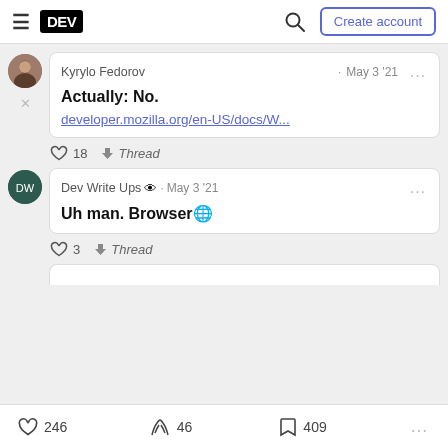DEV · Create account
Kyrylo Fedorov · May 3 '21
Actually: No.
developer.mozilla.org/en-US/docs/W...
♡ 18  ↓ Thread
Dev Write Ups 👀 · May 3 '21
Uh man. Browser🌐
♡ 3  ↓ Thread
♡ 246   🔥 46   🔖 409   ...